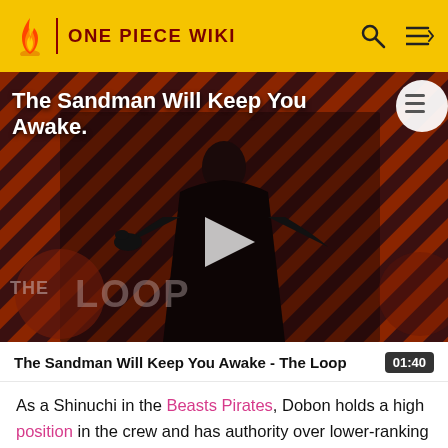ONE PIECE WIKI
[Figure (screenshot): Video thumbnail for 'The Sandman Will Keep You Awake - The Loop' showing a figure in black against a diagonal striped red/dark background with THE LOOP watermark and a play button overlay.]
The Sandman Will Keep You Awake - The Loop  01:40
As a Shinuchi in the Beasts Pirates, Dobon holds a high position in the crew and has authority over lower-ranking members, and as a vice warden of the Prisoner Mines, he